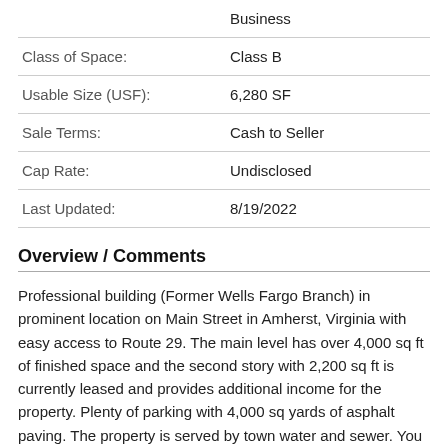| Property | Value |
| --- | --- |
|  | Business |
| Class of Space: | Class B |
| Usable Size (USF): | 6,280 SF |
| Sale Terms: | Cash to Seller |
| Cap Rate: | Undisclosed |
| Last Updated: | 8/19/2022 |
Overview / Comments
Professional building (Former Wells Fargo Branch) in prominent location on Main Street in Amherst, Virginia with easy access to Route 29. The main level has over 4,000 sq ft of finished space and the second story with 2,200 sq ft is currently leased and provides additional income for the property. Plenty of parking with 4,000 sq yards of asphalt paving. The property is served by town water and sewer. You could not build this today for the price and you would not find such a fantastic location right in the heart of Amherst. Amherst is situated 15 miles south of Lynchburg and 50...